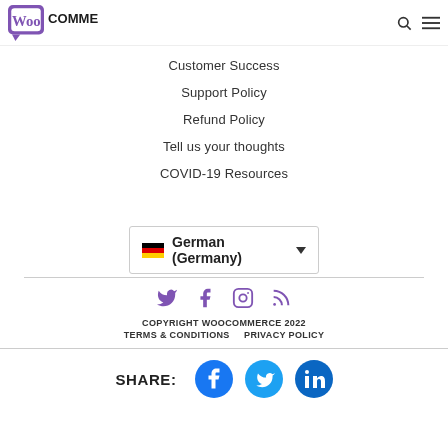[Figure (logo): WooCommerce logo — purple speech-bubble icon with 'WooCommerce' wordmark in black]
Customer Success
Support Policy
Refund Policy
Tell us your thoughts
COVID-19 Resources
[Figure (other): Language selector dropdown showing German flag emoji and text 'German (Germany)' with dropdown arrow]
[Figure (other): Row of four social media icons (Twitter, Facebook, Instagram, RSS) in purple]
COPYRIGHT WOOCOMMERCE 2022
TERMS & CONDITIONS    PRIVACY POLICY
[Figure (other): Share row with three circular social icons: Facebook (blue), Twitter (cyan), LinkedIn (blue) with SHARE: label]